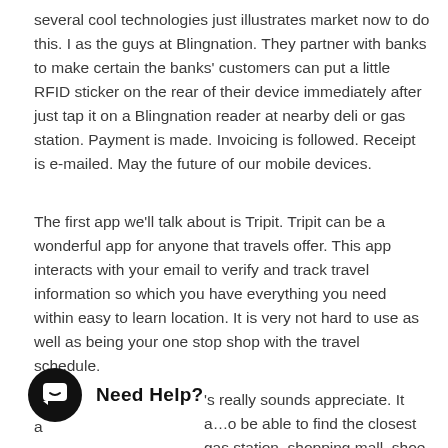several cool technologies just illustrates market now to do this. I as the guys at Blingnation. They partner with banks to make certain the banks' customers can put a little RFID sticker on the rear of their device immediately after just tap it on a Blingnation reader at nearby deli or gas station. Payment is made. Invoicing is followed. Receipt is e-mailed. May the future of our mobile devices.
The first app we'll talk about is Tripit. Tripit can be a wonderful app for anyone that travels offer. This app interacts with your email to verify and track travel information so which you have everything you need within easy to learn location. It is very not hard to use as well as being your one stop shop with the travel schedule.
T...ro'...s really sounds appreciate. It a...o be able to find the closest gas station, shopping mall, shoe store, movie theater, or obviously any good great position
[Figure (other): Chat widget with black circular icon containing a chat bubble with a smile, and text 'Need Help?']